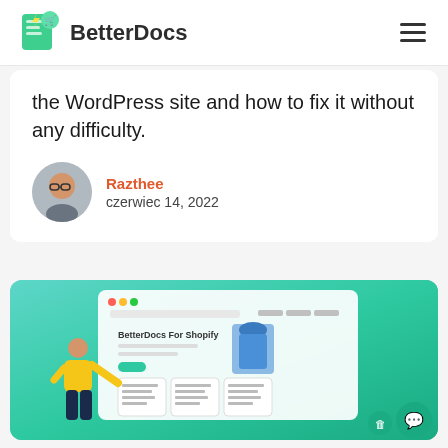BetterDocs
the WordPress site and how to fix it without any difficulty.
Razthee
czerwiec 14, 2022
[Figure (screenshot): BetterDocs for Shopify product page screenshot with person pointing at knowledge base cards, on a teal gradient background]